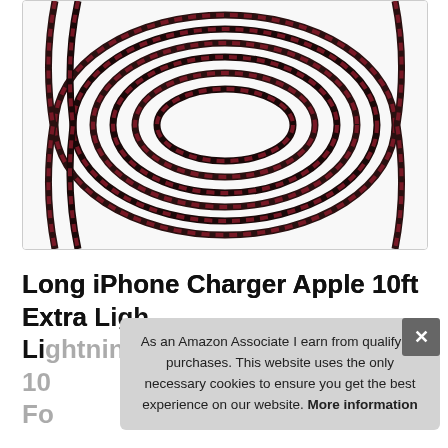[Figure (photo): Coiled red and black braided iPhone lightning charging cables arranged in circular loops on a white background]
Long iPhone Charger Apple 10ft Extra Lightning Charging Cable 3Pack 10 Foot iPhone Charger Cord MFi Certified Products Braided Fast Charging Plus 7/8/6/SE/SE2/6S/5S/iPad All
As an Amazon Associate I earn from qualifying purchases. This website uses the only necessary cookies to ensure you get the best experience on our website. More information